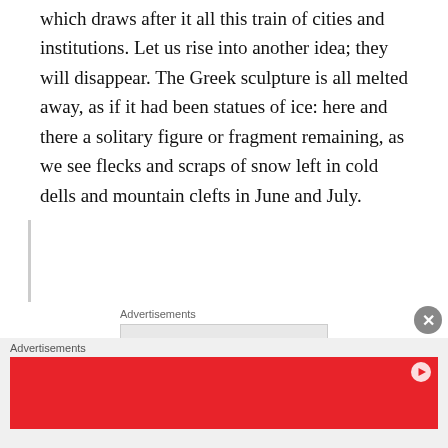which draws after it all this train of cities and institutions. Let us rise into another idea; they will disappear. The Greek sculpture is all melted away, as if it had been statues of ice: here and there a solitary figure or fragment remaining, as we see flecks and scraps of snow left in cold dells and mountain clefts in June and July.
[Figure (other): Advertisement banner area with label 'Advertisements' and partial text 'Build a writing' visible in a light gray box]
[Figure (other): Bottom bar advertisement with label 'Advertisements' and a red banner ad with a play button icon in the top right corner]